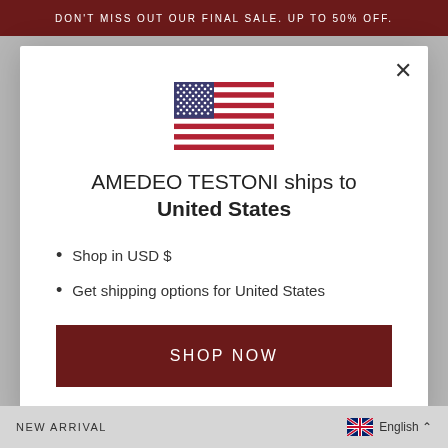DON'T MISS OUT OUR FINAL SALE. UP TO 50% OFF.
[Figure (illustration): US flag icon centered in modal]
AMEDEO TESTONI ships to United States
Shop in USD $
Get shipping options for United States
SHOP NOW
NEW ARRIVAL   NEW ARRIVAL   English